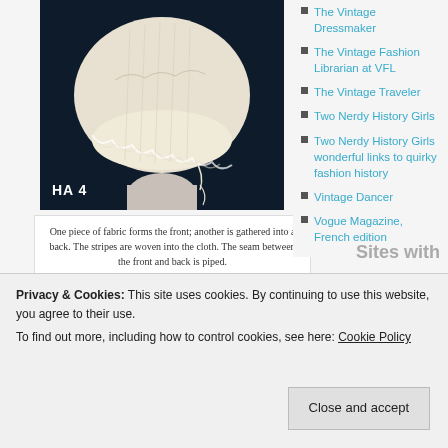[Figure (photo): A white fabric bonnet displayed on a mannequin head against a dark blue background, labeled HA 4]
One piece of fabric forms the front; another is gathered into a back. The stripes are woven into the cloth. The seam between the front and back is piped.
[Figure (photo): Partial view of another historical hat/bonnet photograph, dark background]
The Vintage Dressmaker
The Vintage Fashion Librarian at VFL
The Vintage Traveler
Two Nerdy History Girls
Two Nerdy History Girls wonderful links to quirky fashion history
Vintage Dancer
Vogue Magazine, French edition
Privacy & Cookies: This site uses cookies. By continuing to use this website, you agree to their use.
To find out more, including how to control cookies, see here: Cookie Policy
Close and accept
Sites with